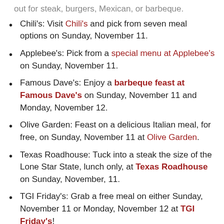out for steak, burgers, Mexican, or barbeque.
Chili's: Visit Chili's and pick from seven meal options on Sunday, November 11.
Applebee's: Pick from a special menu at Applebee's on Sunday, November 11.
Famous Dave's: Enjoy a barbeque feast at Famous Dave's on Sunday, November 11 and Monday, November 12.
Olive Garden: Feast on a delicious Italian meal, for free, on Sunday, November 11 at Olive Garden.
Texas Roadhouse: Tuck into a steak the size of the Lone Star State, lunch only, at Texas Roadhouse on Sunday, November, 11.
TGI Friday's: Grab a free meal on either Sunday, November 11 or Monday, November 12 at TGI Friday's!
Red Robin: Enjoy one of Red Robin's signature